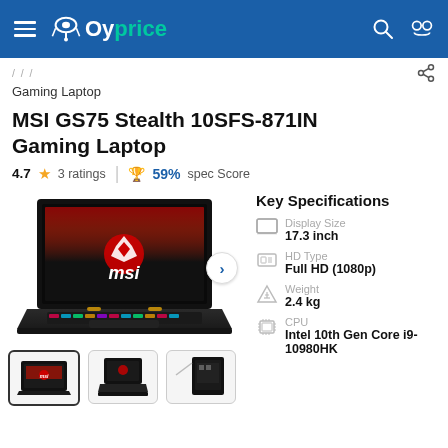Oyprice
Gaming Laptop
MSI GS75 Stealth 10SFS-871IN Gaming Laptop
4.7 ★ 3 ratings | 🏆 59% spec Score
[Figure (photo): MSI GS75 Stealth gaming laptop with RGB keyboard and MSI dragon logo on screen, shown in open position from a slightly elevated front angle]
Key Specifications
Display Size: 17.3 inch
HD Type: Full HD (1080p)
Weight: 2.4 kg
CPU: Intel 10th Gen Core i9-10980HK